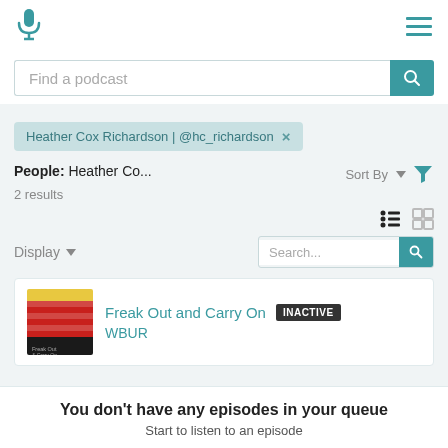[Figure (screenshot): App top navigation bar with teal microphone logo on left and hamburger menu icon on right]
Find a podcast
Heather Cox Richardson | @hc_richardson ×
People: Heather Co...
2 results
Sort By
Display
Search...
Freak Out and Carry On
INACTIVE
WBUR
You don't have any episodes in your queue
Start to listen to an episode